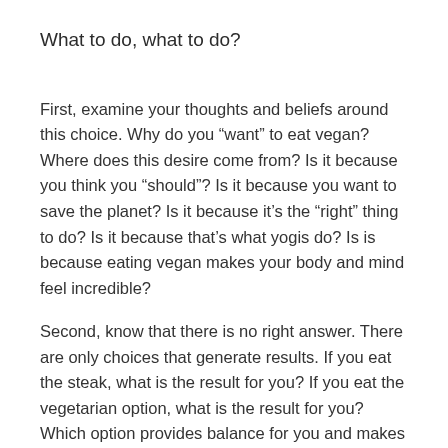What to do, what to do?
First, examine your thoughts and beliefs around this choice. Why do you “want” to eat vegan? Where does this desire come from? Is it because you think you “should”? Is it because you want to save the planet? Is it because it’s the “right” thing to do? Is it because that’s what yogis do? Is is because eating vegan makes your body and mind feel incredible?
Second, know that there is no right answer. There are only choices that generate results. If you eat the steak, what is the result for you? If you eat the vegetarian option, what is the result for you? Which option provides balance for you and makes you feel more alive? If, like me, you have a tendency to become ungrounded and have too much Vatta